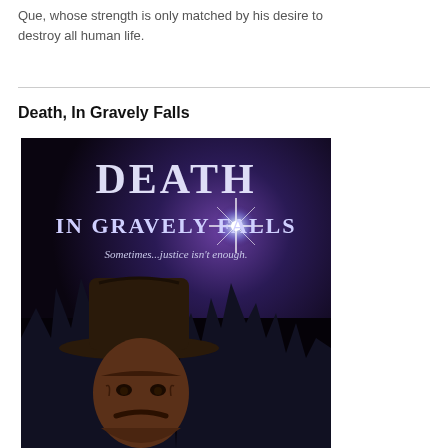Que, whose strength is only matched by his desire to destroy all human life.
Death, In Gravely Falls
[Figure (illustration): Book cover for 'Death in Gravely Falls' showing a grizzled sheriff with a cowboy hat and star badge in the foreground, dark purple/night sky with glowing star burst and silhouetted pine trees in the background. Subtitle reads 'Sometimes...justice isn't enough.']